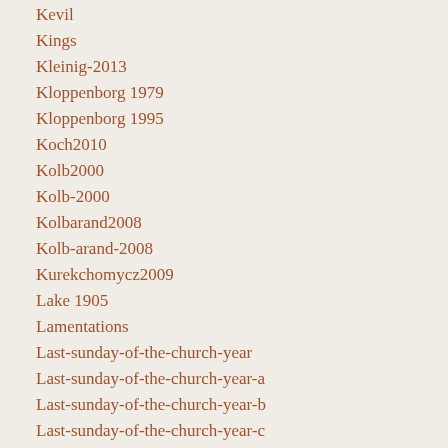Kevil
Kings
Kleinig-2013
Kloppenborg 1979
Kloppenborg 1995
Koch2010
Kolb2000
Kolb-2000
Kolbarand2008
Kolb-arand-2008
Kurekchomycz2009
Lake 1905
Lamentations
Last-sunday-of-the-church-year
Last-sunday-of-the-church-year-a
Last-sunday-of-the-church-year-b
Last-sunday-of-the-church-year-c
Layton 1968
Lectionary